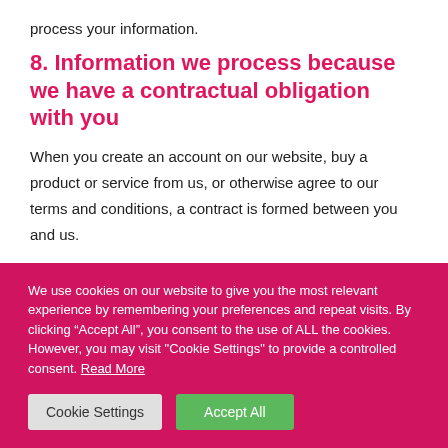process your information.
8. Information we process because we have a contractual obligation with you
When you create an account on our website, buy a product or service from us, or otherwise agree to our terms and conditions, a contract is formed between you and us.
We use cookies on our website to give you the most relevant experience by remembering your preferences and repeat visits. By clicking “Accept All”, you consent to the use of ALL the cookies. However, you may visit "Cookie Settings" to provide a controlled consent. Read More